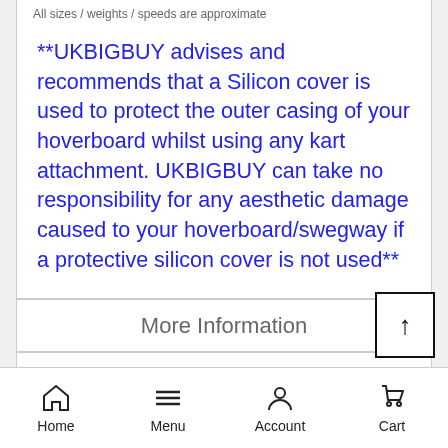All sizes / weights / speeds are approximate
**UKBIGBUY advises and recommends that a Silicon cover is used to protect the outer casing of your hoverboard whilst using any kart attachment. UKBIGBUY can take no responsibility for any aesthetic damage caused to your hoverboard/swegway if a protective silicon cover is not used**
More Information
Reviews
Home  Menu  Account  Cart